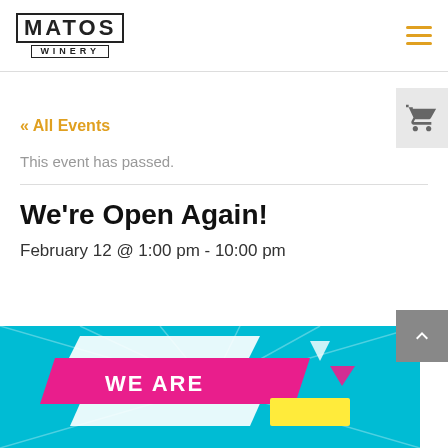[Figure (logo): Matos Winery logo with stylized text and banner]
« All Events
This event has passed.
We're Open Again!
February 12 @ 1:00 pm - 10:00 pm
[Figure (photo): Colorful 'WE ARE OPEN' promotional banner with teal background and pink/yellow graphic elements]